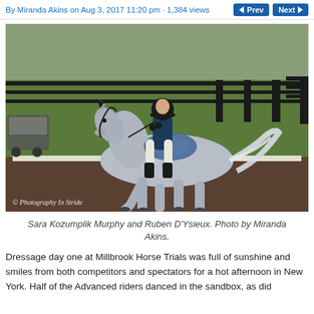By Miranda Akins on Aug 3, 2017 11:20 pm · 1,384 views
[Figure (photo): A rider in navy blue attire on a dapple grey horse performing dressage in an outdoor arena with black fencing and green grass. Watermark: © Photography In Stride]
Sara Kozumplik Murphy and Ruben D'Ysieux. Photo by Miranda Akins.
Dressage day one at Millbrook Horse Trials was full of sunshine and smiles from both competitors and spectators for a hot afternoon in New York. Half of the Advanced riders danced in the sandbox, as did